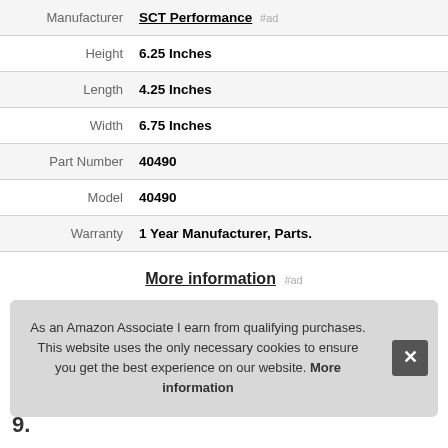|  |  |
| --- | --- |
| Manufacturer | SCT Performance #ad |
| Height | 6.25 Inches |
| Length | 4.25 Inches |
| Width | 6.75 Inches |
| Part Number | 40490 |
| Model | 40490 |
| Warranty | 1 Year Manufacturer, Parts. |
More information #ad
As an Amazon Associate I earn from qualifying purchases. This website uses the only necessary cookies to ensure you get the best experience on our website. More information